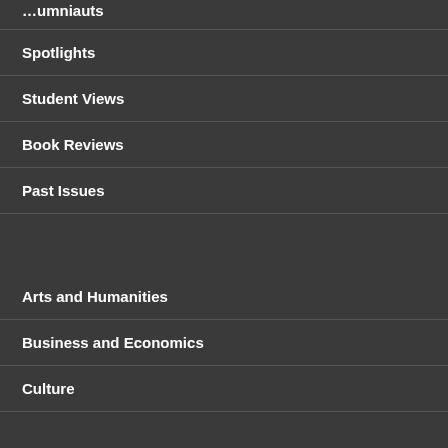Spotlights
Student Views
Book Reviews
Past Issues
Arts and Humanities
Business and Economics
Culture